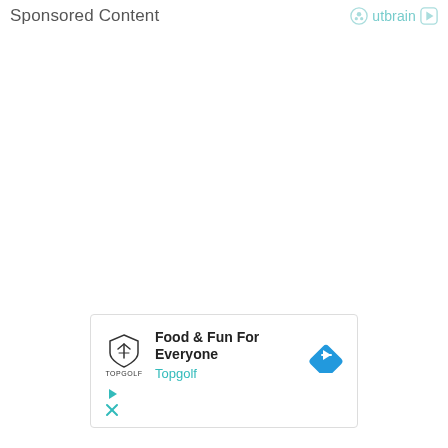Sponsored Content   Outbrain
[Figure (infographic): Topgolf advertisement card with shield logo, text 'Food & Fun For Everyone', brand name 'Topgolf', blue diamond arrow button, and small play/close icons at bottom left.]